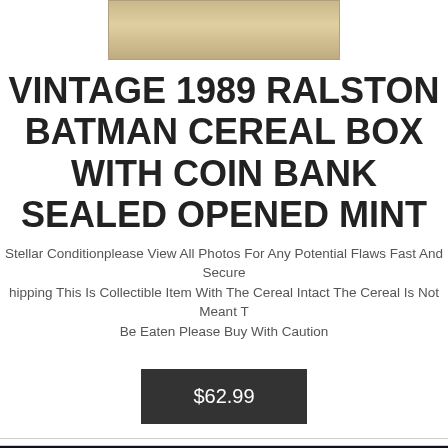[Figure (photo): Partial top image of a wooden surface or cereal box top, cropped at the top of the page]
VINTAGE 1989 RALSTON BATMAN CEREAL BOX WITH COIN BANK SEALED OPENED MINT
Stellar Conditionplease View All Photos For Any Potential Flaws Fast And Secure Shipping This Is Collectible Item With The Cereal Intact The Cereal Is Not Meant To Be Eaten Please Buy With Caution
$62.99
[Figure (photo): Bottom portion showing three graded comic book slabs with grades 9.4, 9.0, and 9.5 visible, dark background]